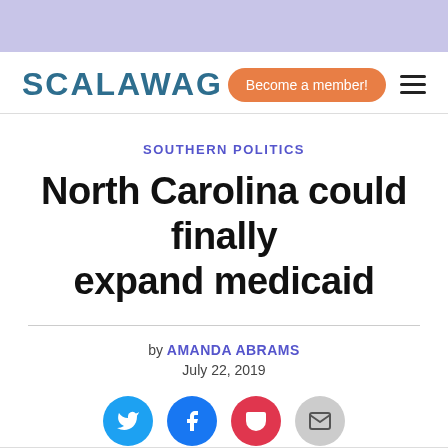SCALAWAG
SOUTHERN POLITICS
North Carolina could finally expand medicaid
by AMANDA ABRAMS
July 22, 2019
[Figure (other): Social sharing icons: Twitter, Facebook, Pocket, Email]